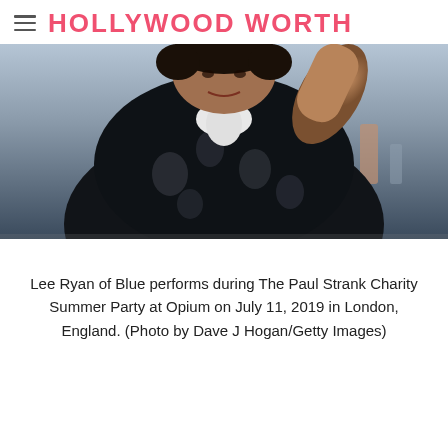HOLLYWOOD WORTH
[Figure (photo): Lee Ryan of Blue performing at The Paul Strank Charity Summer Party at Opium, wearing a dark floral jacket over a white shirt, photographed at the event.]
Lee Ryan of Blue performs during The Paul Strank Charity Summer Party at Opium on July 11, 2019 in London, England. (Photo by Dave J Hogan/Getty Images)